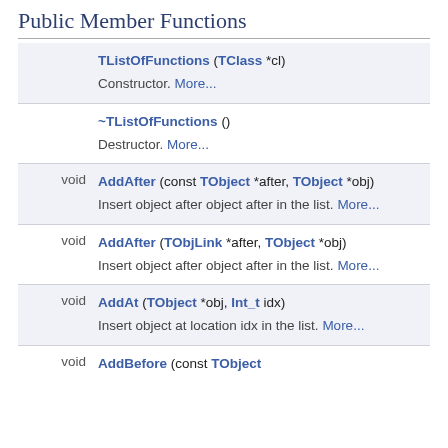Public Member Functions
| Return | Function |
| --- | --- |
|  | TListOfFunctions (TClass *cl)
Constructor. More... |
|  | ~TListOfFunctions ()
Destructor. More... |
| void | AddAfter (const TObject *after, TObject *obj)
Insert object after object after in the list. More... |
| void | AddAfter (TObjLink *after, TObject *obj)
Insert object after object after in the list. More... |
| void | AddAt (TObject *obj, Int_t idx)
Insert object at location idx in the list. More... |
| void | AddBefore (const TObject... |